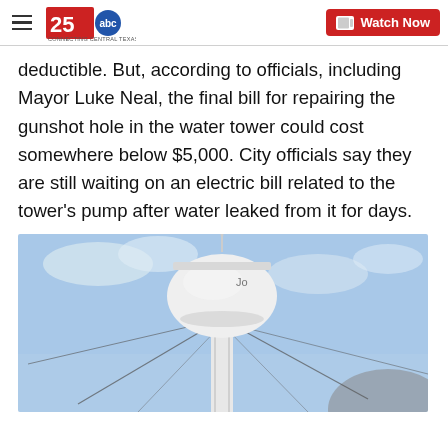KXXV 25 ABC Connecting Central Texas — Watch Now
deductible. But, according to officials, including Mayor Luke Neal, the final bill for repairing the gunshot hole in the water tower could cost somewhere below $5,000. City officials say they are still waiting on an electric bill related to the tower's pump after water leaked from it for days.
[Figure (photo): A white water tower photographed from below against a blue sky with wispy clouds. The tank is visible at top supported by a central column with cable supports. Partial text visible on the tank.]